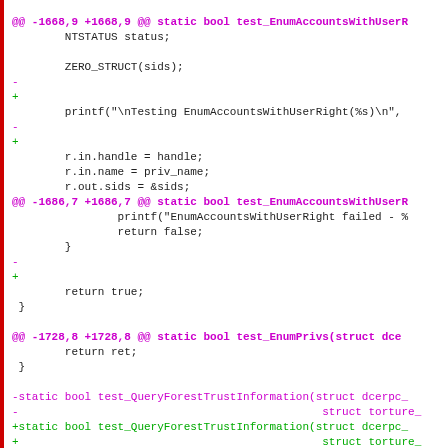[Figure (other): A unified diff (code patch) showing changes to C source code. Hunk headers in magenta, removed lines prefixed with '-' in magenta, added lines prefixed with '+' in green, context lines in black monospace.]